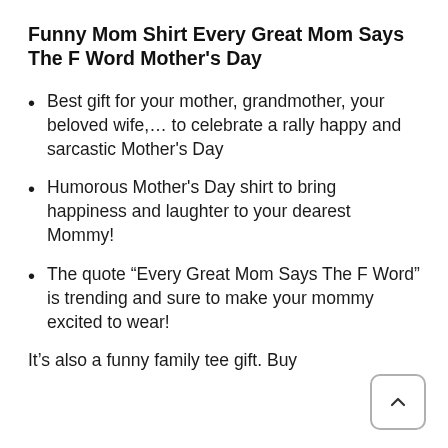Funny Mom Shirt Every Great Mom Says The F Word Mother's Day
Best gift for your mother, grandmother, your beloved wife,… to celebrate a rally happy and sarcastic Mother's Day
Humorous Mother's Day shirt to bring happiness and laughter to your dearest Mommy!
The quote “Every Great Mom Says The F Word” is trending and sure to make your mommy excited to wear!
It’s also a funny family tee gift. Buy